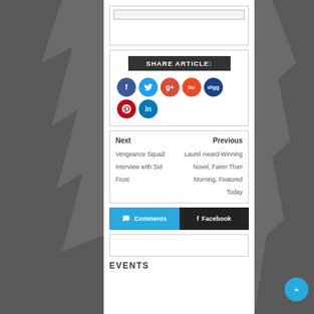SHARE ARTICLE:
[Figure (infographic): Row of colored circular social media sharing buttons: Facebook (blue), Twitter (light blue), Google+ (red), StumbleUpon (orange-red), Digg (dark blue), Pinterest (dark red), LinkedIn (blue)]
Next
Vengeance Squad: Interview with Sid Frost
Previous
Laurel Award-Winning Novel, Fairer Than Morning, Featured Today
Comments
Facebook
EVENTS